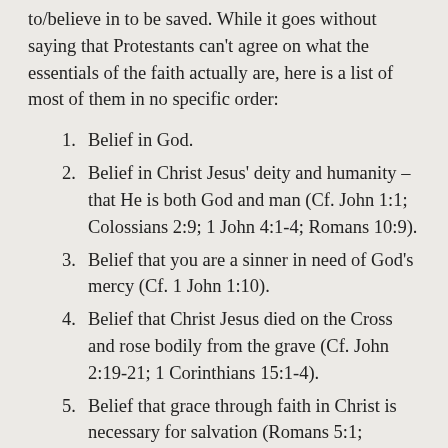to/believe in to be saved. While it goes without saying that Protestants can't agree on what the essentials of the faith actually are, here is a list of most of them in no specific order:
Belief in God.
Belief in Christ Jesus' deity and humanity – that He is both God and man (Cf. John 1:1; Colossians 2:9; 1 John 4:1-4; Romans 10:9).
Belief that you are a sinner in need of God's mercy (Cf. 1 John 1:10).
Belief that Christ Jesus died on the Cross and rose bodily from the grave (Cf. John 2:19-21; 1 Corinthians 15:1-4).
Belief that grace through faith in Christ is necessary for salvation (Romans 5:1; Ephesians 2:8-9; Galatians 3:1-2, 5:1-4).